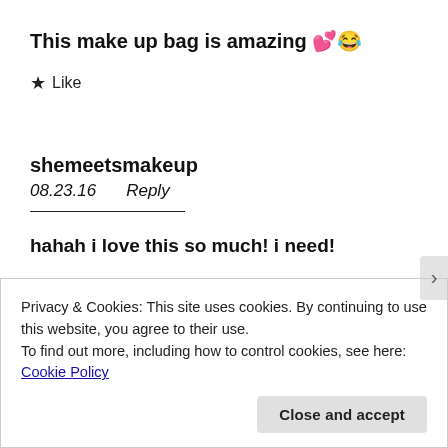This make up bag is amazing 💕😂
★ Like
shemeetsmakeup
08.23.16    Reply
hahah i love this so much! i need!
Privacy & Cookies: This site uses cookies. By continuing to use this website, you agree to their use.
To find out more, including how to control cookies, see here: Cookie Policy
Close and accept